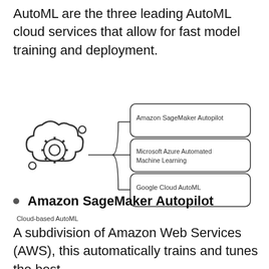AutoML are the three leading AutoML cloud services that allow for fast model training and deployment.
[Figure (flowchart): A diagram showing 'Cloud-based AutoML' icon (cloud with gear) on the left, connected by branching lines to three labeled boxes on the right: 'Amazon SageMaker Autopilot', 'Microsoft Azure Automated Machine Learning', and 'Google Cloud AutoML'.]
Amazon SageMaker Autopilot
A subdivision of Amazon Web Services (AWS), this automatically trains and tunes the best